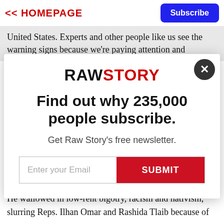<< HOMEPAGE | Subscribe
United States. Experts and other people like us see the warning signs because we're paying attention and
[Figure (screenshot): Raw Story newsletter subscription modal with headline 'Find out why 235,000 people subscribe.' and email input with SUBMIT button]
return him to power.
He wallowed in low-rent bigotry, racism and nativism, slurring Reps. Ilhan Omar and Rashida Tlaib because of